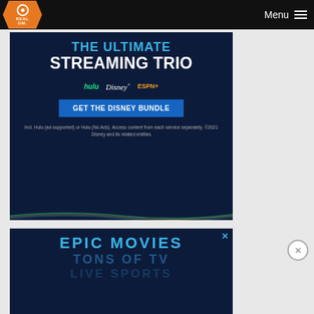RealGM — Menu
[Figure (infographic): Disney Bundle advertisement showing 'THE ULTIMATE STREAMING TRIO' with Hulu, Disney+, and ESPN+ logos, a 'GET THE DISNEY BUNDLE' button, and fine print about Hulu (ad-supported) or Hulu (No Ads). Access content from each service separately. ©2021 Disney and its related entities]
[Figure (infographic): Second advertisement partially visible showing 'EPIC MOVIES', 'TONS OF TV', 'LIVE SPORTS' text in blue on dark background with an X close button]